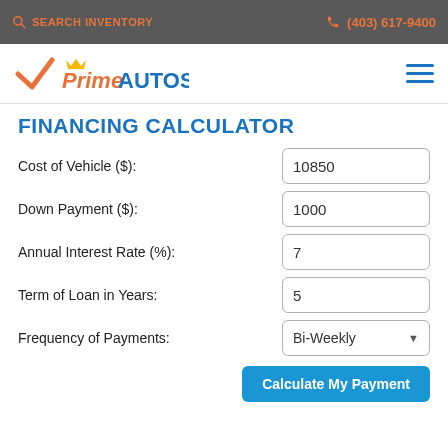SEARCH INVENTORY   (403) 617-9400
[Figure (logo): Prime Autos logo with orange checkmark and crown, blue AUTOS text]
FINANCING CALCULATOR
Cost of Vehicle ($): 10850
Down Payment ($): 1000
Annual Interest Rate (%): 7
Term of Loan in Years: 5
Frequency of Payments: Bi-Weekly
Calculate My Payment